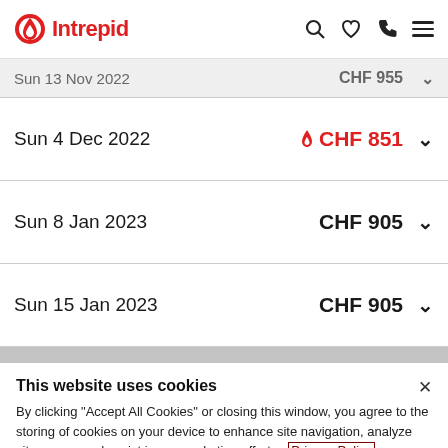Intrepid
| Date | Price |  |
| --- | --- | --- |
| Sun 13 Nov 2022 | CHF 955 |  |
| Sun 4 Dec 2022 | CHF 851 |  |
| Sun 8 Jan 2023 | CHF 905 |  |
| Sun 15 Jan 2023 | CHF 905 |  |
This website uses cookies
By clicking "Accept All Cookies" or closing this window, you agree to the storing of cookies on your device to enhance site navigation, analyze site usage, and assist in our marketing efforts. Privacy Policy
Cookies Settings
Accept All Cookies